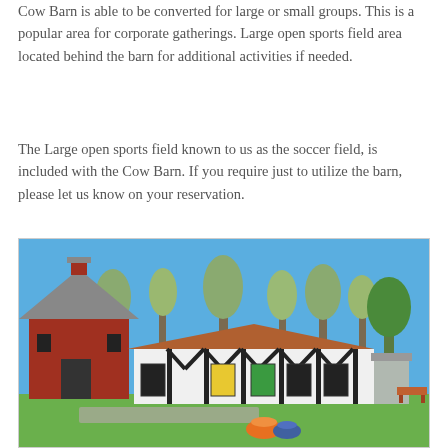Cow Barn is able to be converted for large or small groups. This is a popular area for corporate gatherings. Large open sports field area located behind the barn for additional activities if needed.
The Large open sports field known to us as the soccer field, is included with the Cow Barn. If you require just to utilize the barn, please let us know on your reservation.
[Figure (photo): Outdoor photo of a barn complex on a sunny day with blue sky. On the left is a red traditional barn with a grey gabled roof and a cupola. To the right is a white building with a brown roof, decorated with black timber framing in a Tudor style, and colorful window boxes/panels in yellow, green, and black. Trees are visible in the background. Green grass is in the foreground with a path.]